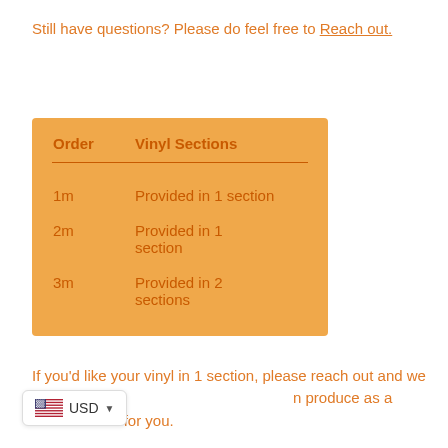Still have questions? Please do feel free to Reach out.
| Order | Vinyl Sections |
| --- | --- |
| 1m | Provided in 1 section |
| 2m | Provided in 1 section |
| 3m | Provided in 2 sections |
If you'd like your vinyl in 1 section, please reach out and we can produce as a custom order for you.